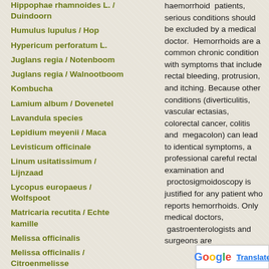Hippophae rhamnoides L. / Duindoorn
Humulus lupulus / Hop
Hypericum perforatum L.
Juglans regia / Notenboom
Juglans regia / Walnootboom
Kombucha
Lamium album / Dovenetel
Lavandula species
Lepidium meyenii / Maca
Levisticum officinale
Linum usitatissimum / Lijnzaad
Lycopus europaeus / Wolfspoot
Matricaria recutita / Echte kamille
Melissa officinalis
Melissa officinalis / Citroenmelisse
haemorrhoid patients, serious conditions should be excluded by a medical doctor. Hemorrhoids are a common chronic condition with symptoms that include rectal bleeding, protrusion, and itching. Because other conditions (diverticulitis, vascular ectasias, colorectal cancer, colitis and megacolon) can lead to identical symptoms, a professional careful rectal examination and proctosigmoidoscopy is justified for any patient who reports hemorrhoids. Only medical doctors, gastroenterologists and surgeons are